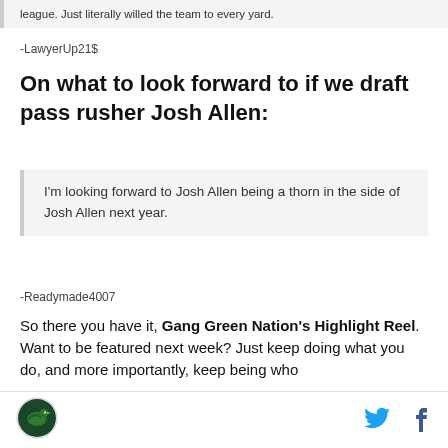league. Just literally willed the team to every yard.
-LawyerUp21$
On what to look forward to if we draft pass rusher Josh Allen:
I'm looking forward to Josh Allen being a thorn in the side of Josh Allen next year.
-Readymade4007
So there you have it, Gang Green Nation's Highlight Reel. Want to be featured next week? Just keep doing what you do, and more importantly, keep being who
[Figure (logo): Gang Green Nation circular logo with bird]